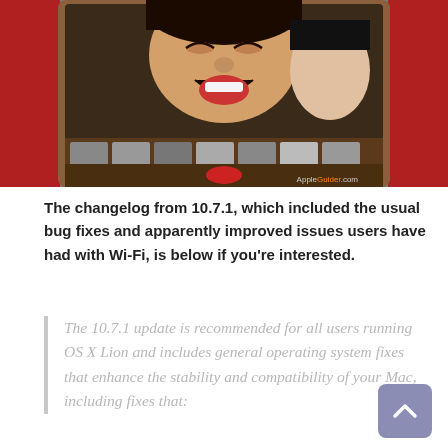[Figure (photo): FaceTime video call screenshot showing a laughing person on screen with a filmstrip of smaller video thumbnails below, watermarked with AppleGuider.com]
The changelog from 10.7.1, which included the usual bug fixes and apparently improved issues users have had with Wi-Fi, is below if you're interested.
The 10.7.1 update is recommended for all users running OS X Lion and includes general operating system fixes that enhance the stability and compatibility of your Mac, including fixes that:
– Address an issue that may cause the system to become unresponsive when playing a video in Safari